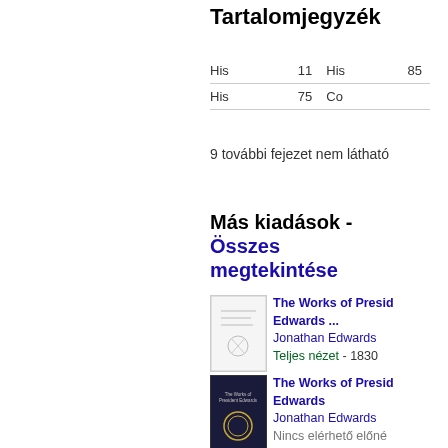Tartalomjegyzék
|  |  |  |  |
| --- | --- | --- | --- |
| His | 11 | His | 85 |
| His | 75 | Co |  |
9 további fejezet nem látható
Más kiadások - Összes megtekintése
[Figure (illustration): Thumbnail of old book cover for The Works of President Edwards]
The Works of President Edwards ...
Jonathan Edwards
Teljes nézet - 1830
[Figure (illustration): Dark book cover thumbnail for The Works of President Edwards]
The Works of President Edwards
Jonathan Edwards
Nincs elérhető előné - 2015